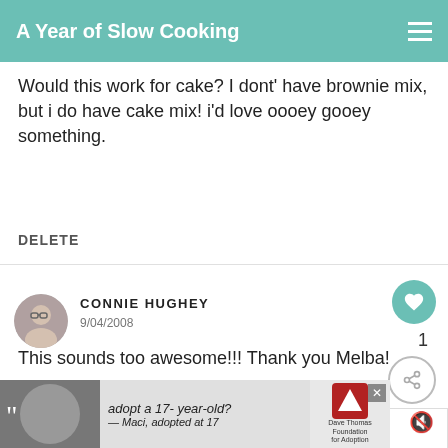A Year of Slow Cooking
Would this work for cake? I dont' have brownie mix, but i do have cake mix! i'd love oooey gooey something.
DELETE
CONNIE HUGHEY
9/04/2008
This sounds too awesome!!! Thank you Melba!
WHAT'S NEXT → Roasted Garlic in the...
[Figure (other): Advertisement banner: adopt a 17-year-old? — Maci, adopted at 17. Dave Thomas Foundation for Adoption logo.]